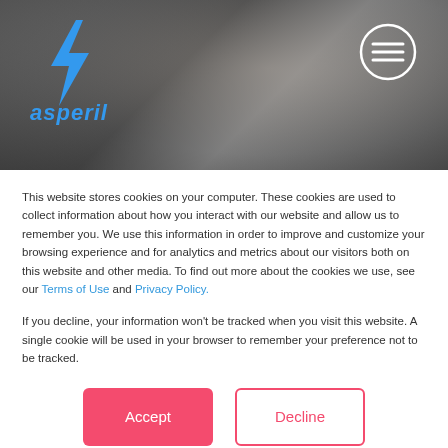[Figure (screenshot): Website header banner with blurred dark background showing a room interior. Contains Asperil logo (blue lightning bolt with italic 'asperil' text) on the left and a hamburger menu button (circle with three lines) on the right.]
This website stores cookies on your computer. These cookies are used to collect information about how you interact with our website and allow us to remember you. We use this information in order to improve and customize your browsing experience and for analytics and metrics about our visitors both on this website and other media. To find out more about the cookies we use, see our Terms of Use and Privacy Policy.
If you decline, your information won't be tracked when you visit this website. A single cookie will be used in your browser to remember your preference not to be tracked.
Accept
Decline